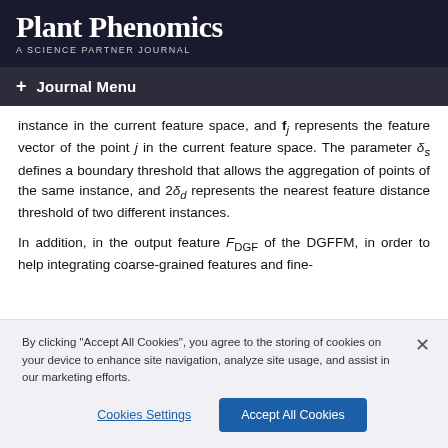Plant Phenomics
A SCIENCE PARTNER JOURNAL
+ Journal Menu
instance in the current feature space, and f_j represents the feature vector of the point j in the current feature space. The parameter δ_s defines a boundary threshold that allows the aggregation of points of the same instance, and 2δ_d represents the nearest feature distance threshold of two different instances.
In addition, in the output feature F_DGF of the DGFFM, in order to help integrating coarse-grained features and fine-
By clicking "Accept All Cookies", you agree to the storing of cookies on your device to enhance site navigation, analyze site usage, and assist in our marketing efforts.
Cookies Settings    Accept All Cookies